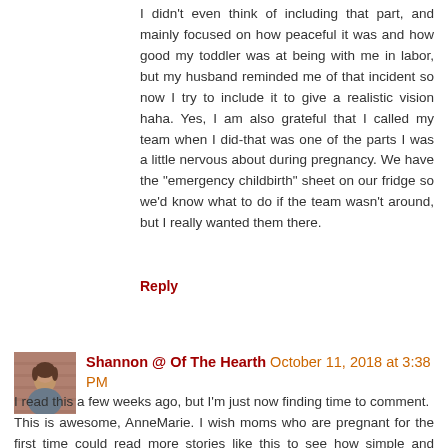I didn't even think of including that part, and mainly focused on how peaceful it was and how good my toddler was at being with me in labor, but my husband reminded me of that incident so now I try to include it to give a realistic vision haha. Yes, I am also grateful that I called my team when I did-that was one of the parts I was a little nervous about during pregnancy. We have the "emergency childbirth" sheet on our fridge so we'd know what to do if the team wasn't around, but I really wanted them there.
Reply
[Figure (photo): Small square avatar photo of Shannon, a woman with brown hair, against a brick wall background]
Shannon @ Of The Hearth  October 11, 2018 at 3:38 PM
I read this a few weeks ago, but I'm just now finding time to comment.
This is awesome, AnneMarie. I wish moms who are pregnant for the first time could read more stories like this to see how simple and peaceful birth can be. Congrats on